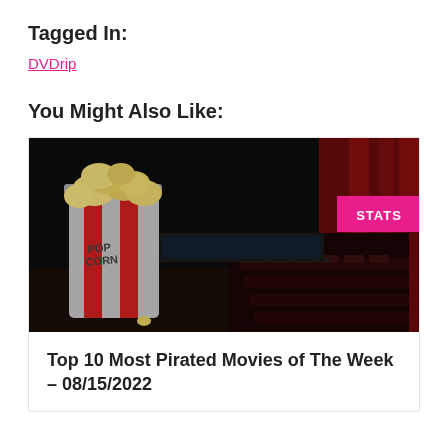Tagged In:
DVDrip
You Might Also Like:
[Figure (photo): Dark cinematic scene showing a red-and-white striped popcorn bucket on a table next to an open laptop, with movie theater red curtains and seats visible in the background. A pink 'STATS' badge overlays the top-right corner of the image.]
Top 10 Most Pirated Movies of The Week – 08/15/2022